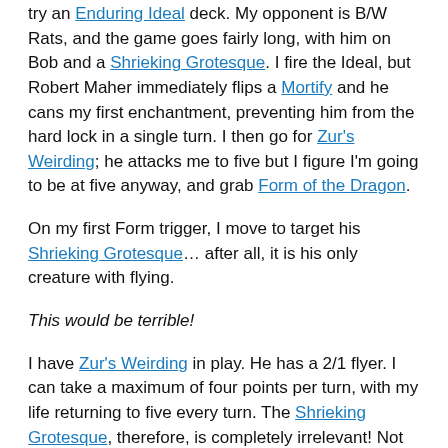try an Enduring Ideal deck. My opponent is B/W Rats, and the game goes fairly long, with him on Bob and a Shrieking Grotesque. I fire the Ideal, but Robert Maher immediately flips a Mortify and he cans my first enchantment, preventing him from the hard lock in a single turn. I then go for Zur's Weirding; he attacks me to five but I figure I'm going to be at five anyway, and grab Form of the Dragon.
On my first Form trigger, I move to target his Shrieking Grotesque… after all, it is his only creature with flying.
This would be terrible!
I have Zur's Weirding in play. He has a 2/1 flyer. I can take a maximum of four points per turn, with my life returning to five every turn. The Shrieking Grotesque, therefore, is completely irrelevant! Not that it matters because the opponent is essentially in the hard lock, but that move would have simply wasted a turn (i.e. it would have been